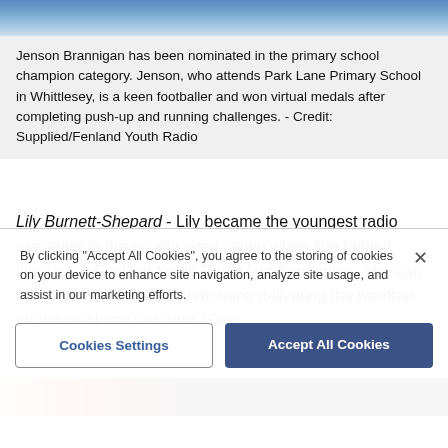[Figure (photo): Top photo strip showing a person, partially cropped]
Jenson Brannigan has been nominated in the primary school champion category. Jenson, who attends Park Lane Primary School in Whittlesey, is a keen footballer and won virtual medals after completing push-up and running challenges. - Credit: Supplied/Fenland Youth Radio
Lily Burnett-Shepard - Lily became the youngest radio presenter in the county aged seven when she helped launch the Fenland Youth Radio last September. She can be heard every Saturday morning delivering the weather for the weekend just after 10am.
[Figure (photo): Bottom photo strip partially visible, red and black colours]
By clicking "Accept All Cookies", you agree to the storing of cookies on your device to enhance site navigation, analyze site usage, and assist in our marketing efforts.
Cookies Settings | Accept All Cookies